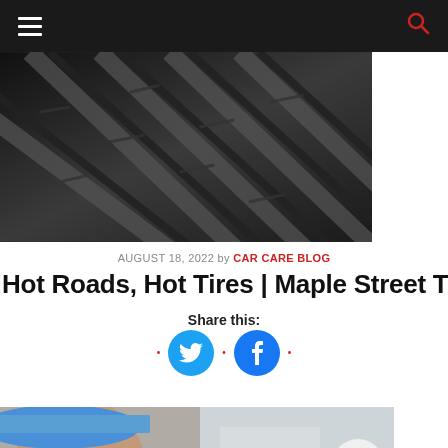Navigation bar with hamburger menu and search icon
[Figure (photo): Close-up black and white photo of tire treads]
AUGUST 18, 2022 by CAR CARE BLOG
Hot Roads, Hot Tires | Maple Street Tires
Share this:
[Figure (infographic): Social share buttons: Twitter and Facebook circular icons with red bullet separators]
[Figure (photo): Partial photo of a mechanic wearing a blue cap near a car, with a chat bubble widget in the bottom right]